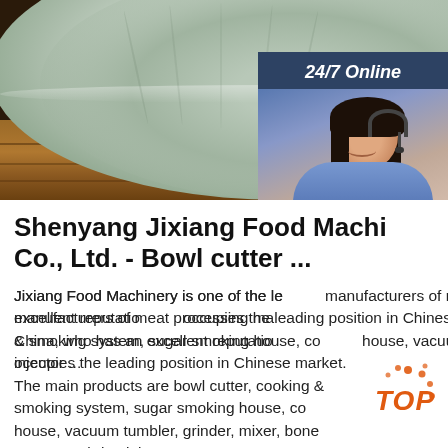[Figure (photo): Photo of a white ceramic bowl on a wooden surface, with a dark background. Partially overlaid by a customer service chat widget showing a woman with headset, '24/7 Online' header, 'Click here for free chat!' text, and orange QUOTATION button.]
Shenyang Jixiang Food Machi Co., Ltd. - Bowl cutter ...
Jixiang Food Machinery is one of the leading manufacturers of meat processing machinery in China, who has an excellent reputation and occupies the leading position in Chinese market. The main products are bowl cutter, cooking & smoking system, sugar smoking house, cooking house, vacuum tumbler, grinder, mixer, bone separator, brine injector ...